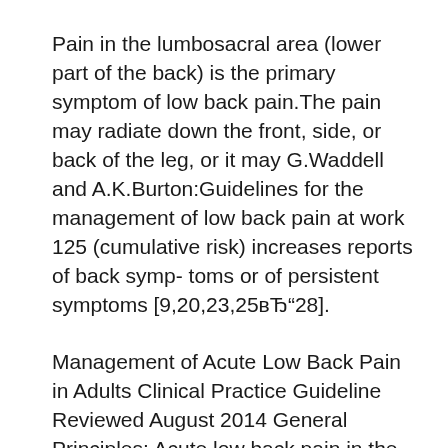Pain in the lumbosacral area (lower part of the back) is the primary symptom of low back pain.The pain may radiate down the front, side, or back of the leg, or it may G.Waddell and A.K.Burton:Guidelines for the management of low back pain at work 125 (cumulative risk) increases reports of back symp- toms or of persistent symptoms [9,20,23,25вЂ"28].
Management of Acute Low Back Pain in Adults Clinical Practice Guideline Reviewed August 2014 General Principles: Acute low back pain in the adult patient is defined as <3 months of activity intolerance due to lower back